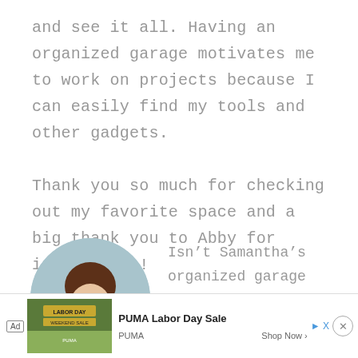and see it all. Having an organized garage motivates me to work on projects because I can easily find my tools and other gadgets.

Thank you so much for checking out my favorite space and a big thank you to Abby for inviting me!
[Figure (photo): Circular profile photo of a woman with dark hair wearing a teal top, smiling.]
Isn’t Samantha’s organized garage amazing?! She included so many brilliant stor... it
[Figure (other): Advertisement banner for PUMA Labor Day Sale with a photo of outdoor scene and Shop Now button.]